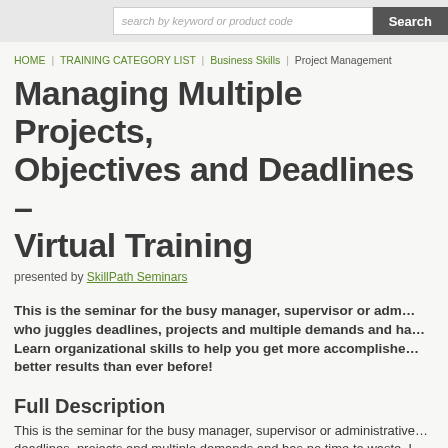search by keyword or product code  Search
Managing Multiple Projects, Objectives and Deadlines – Virtual Training
presented by SkillPath Seminars
This is the seminar for the busy manager, supervisor or adm… who juggles deadlines, projects and multiple demands and ha… Learn organizational skills to help you get more accomplishe… better results than ever before!
Full Description
This is the seminar for the busy manager, supervisor or administrative… deadlines, projects and multiple demands and has no time to waste. L…